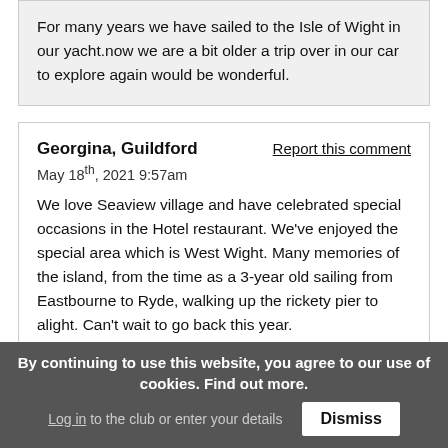For many years we have sailed to the Isle of Wight in our yacht.now we are a bit older a trip over in our car to explore again would be wonderful.
Georgina, Guildford
Report this comment
May 18th, 2021 9:57am
We love Seaview village and have celebrated special occasions in the Hotel restaurant. We've enjoyed the special area which is West Wight. Many memories of the island, from the time as a 3-year old sailing from Eastbourne to Ryde, walking up the rickety pier to alight. Can't wait to go back this year.
Add a comment
By continuing to use this website, you agree to our use of cookies. Find out more.
Log in to the club or enter your details
Dismiss